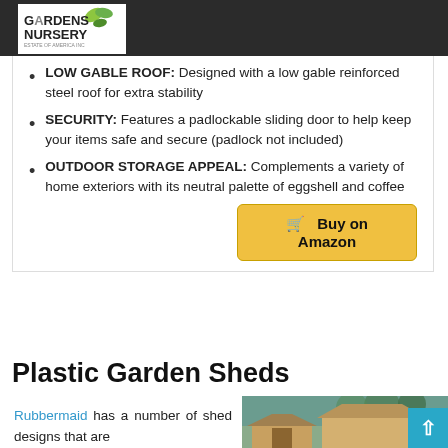Gardens Nursery
LOW GABLE ROOF: Designed with a low gable reinforced steel roof for extra stability
SECURITY: Features a padlockable sliding door to help keep your items safe and secure (padlock not included)
OUTDOOR STORAGE APPEAL: Complements a variety of home exteriors with its neutral palette of eggshell and coffee
[Figure (other): Buy on Amazon button with shopping cart icon, gold/yellow background]
Plastic Garden Sheds
Rubbermaid has a number of shed designs that are
[Figure (photo): Photo of a garden shed exterior surrounded by trees]